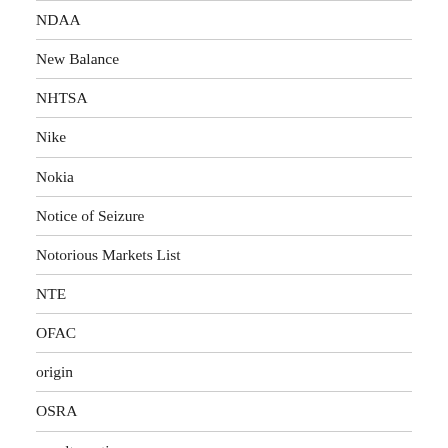NDAA
New Balance
NHTSA
Nike
Nokia
Notice of Seizure
Notorious Markets List
NTE
OFAC
origin
OSRA
penalty notice
Pentagon
pest